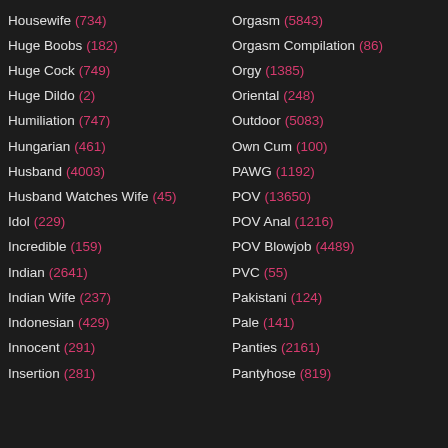Housewife (734)
Huge Boobs (182)
Huge Cock (749)
Huge Dildo (2)
Humiliation (747)
Hungarian (461)
Husband (4003)
Husband Watches Wife (45)
Idol (229)
Incredible (159)
Indian (2641)
Indian Wife (237)
Indonesian (429)
Innocent (291)
Insertion (281)
Orgasm (5843)
Orgasm Compilation (86)
Orgy (1385)
Oriental (248)
Outdoor (5083)
Own Cum (100)
PAWG (1192)
POV (13650)
POV Anal (1216)
POV Blowjob (4489)
PVC (55)
Pakistani (124)
Pale (141)
Panties (2161)
Pantyhose (819)